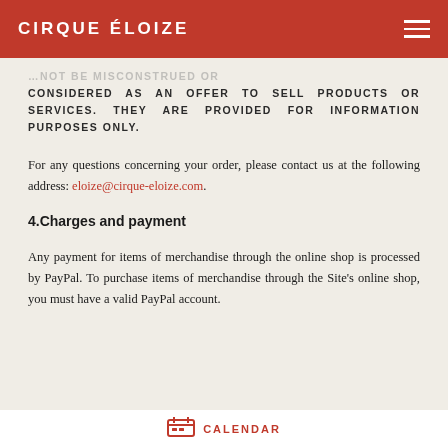CIRQUE ÉLOIZE
CONSIDERED AS AN OFFER TO SELL PRODUCTS OR SERVICES. THEY ARE PROVIDED FOR INFORMATION PURPOSES ONLY.
For any questions concerning your order, please contact us at the following address: eloize@cirque-eloize.com.
4.Charges and payment
Any payment for items of merchandise through the online shop is processed by PayPal. To purchase items of merchandise through the Site's online shop, you must have a valid PayPal account.
CALENDAR